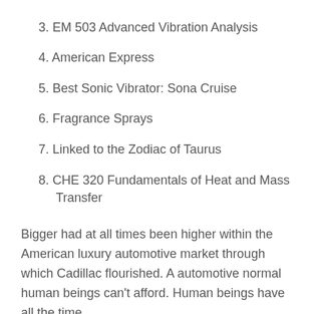3. EM 503 Advanced Vibration Analysis
4. American Express
5. Best Sonic Vibrator: Sona Cruise
6. Fragrance Sprays
7. Linked to the Zodiac of Taurus
8. CHE 320 Fundamentals of Heat and Mass Transfer
Bigger had at all times been higher within the American luxury automotive market through which Cadillac flourished. A automotive normal human beings can't afford. Human beings have all the time